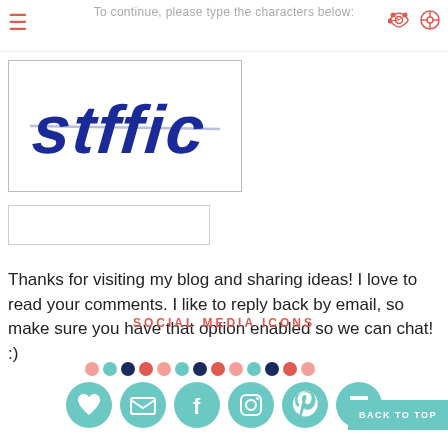To continue, please type the characters below:
[Figure (other): CAPTCHA image showing distorted blue text 'stffic' in a bordered box]
[Figure (other): Empty text input box for CAPTCHA answer]
Thanks for visiting my blog and sharing ideas! I love to read your comments. I like to reply back by email, so make sure you have that option enabled so we can chat! :)
SOCIAL MEDIA ICONS
[Figure (infographic): Row of colored dots followed by social media icon circles (heart, email, facebook, instagram, pinterest, flag) in teal, plus a BACK TO TOP button]